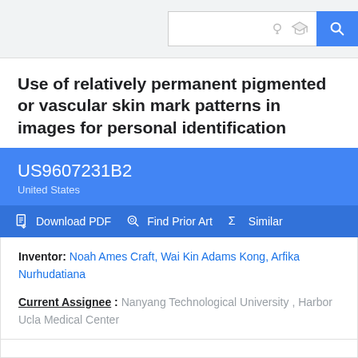[Figure (screenshot): Google Patents search bar header with search input box, lightbulb icon, graduation cap icon, and blue search button with magnifying glass icon]
Use of relatively permanent pigmented or vascular skin mark patterns in images for personal identification
US9607231B2
United States
Download PDF  Find Prior Art  Similar
Inventor: Noah Ames Craft, Wai Kin Adams Kong, Arfika Nurhudatiana
Current Assignee : Nanyang Technological University , Harbor Ucla Medical Center